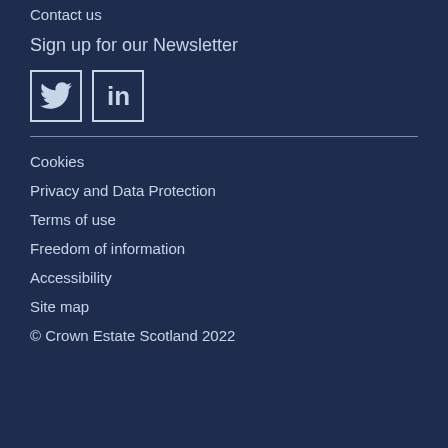Contact us
Sign up for our Newsletter
[Figure (logo): Twitter and LinkedIn social media icons in white outline boxes on dark navy background]
Cookies
Privacy and Data Protection
Terms of use
Freedom of information
Accessibility
Site map
© Crown Estate Scotland 2022